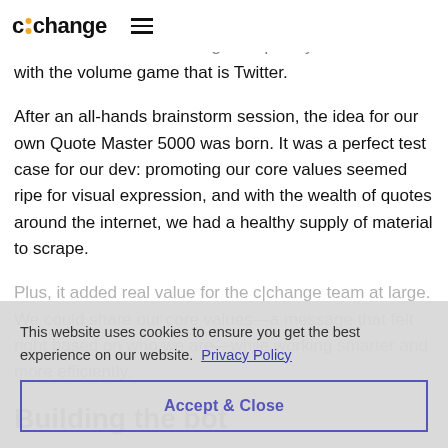c:change [navigation links] ☰
with the volume game that is Twitter.
After an all-hands brainstorm session, the idea for our own Quote Master 5000 was born. It was a perfect test case for our dev: promoting our core values seemed ripe for visual expression, and with the wealth of quotes around the internet, we had a healthy supply of material to scrape.
Plus, it added real value for the c|change team at large. We could share our core values—a message that felt right based on who we are—while working smarter and more efficiently.
Building the bot
This website uses cookies to ensure you get the best experience on our website.  Privacy Policy
Accept & Close